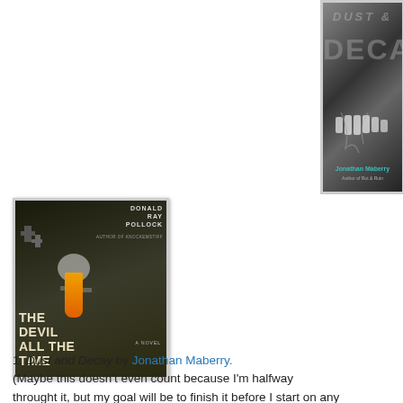[Figure (illustration): Book cover of 'Dust and Decay' by Jonathan Maberry — dark image showing teeth/mouth with smoky text overlay reading 'DECAY', author name in teal at bottom]
[Figure (illustration): Book cover of 'The Devil All the Time' by Donald Ray Pollock — dark cover with crosses, skull-like figure with orange drip, white title text at bottom left]
1. Dust and Decay by Jonathan Maberry. (Maybe this doesn't even count because I'm halfway throught it, but my goal will be to finish it before I start on any others.)